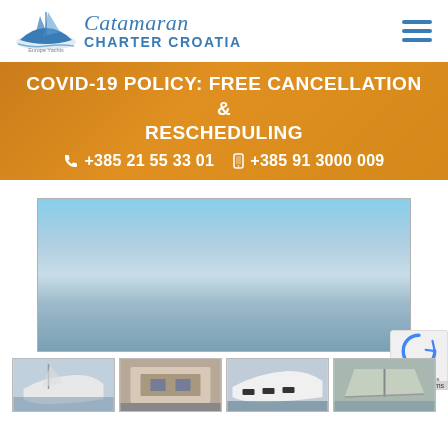[Figure (logo): Europe Yachts logo with boat graphic and 'Catamaran Charter Croatia' text in blue]
COVID-19 POLICY: FREE CANCELLATION & RESCHEDULING
📞 +385 21 55 33 01   📱 +385 91 3000 009
[Figure (photo): Large white catamaran moored at a marina with other sailboats and people visible in background, clear blue sky]
[Figure (photo): Four thumbnail images of catamaran views at bottom of page]